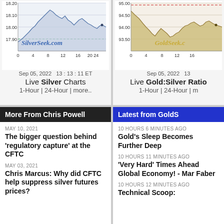[Figure (line-chart): 1-hour silver price chart showing price range ~17.90 to 18.20, dated Sep 05, 2022 13:13:11 ET]
Live Silver Charts
1-Hour | 24-Hour | more..
[Figure (line-chart): 1-hour gold:silver ratio chart showing range ~93.50 to 95.00, dated Sep 05, 2022]
Live Gold:Silver Ratio
1-Hour | 24-Hour | m
More From Chris Powell
MAY 10, 2021
The bigger question behind 'regulatory capture' at the CFTC
MAY 03, 2021
Chris Marcus: Why did CFTC help suppress silver futures prices?
Latest from GoldS
10 HOURS 6 MINUTES AGO
Gold's Sleep Becomes Further Deep
10 HOURS 11 MINUTES AGO
'Very Hard' Times Ahead Global Economy! - Mar Faber
10 HOURS 12 MINUTES AGO
Technical Scoop: